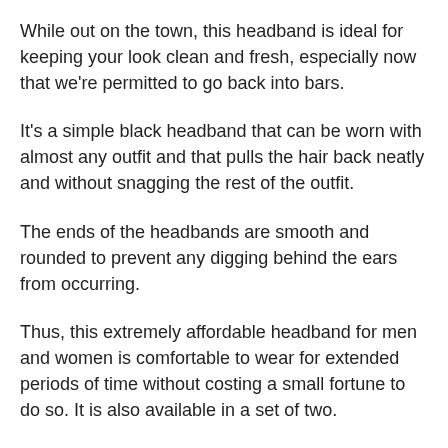While out on the town, this headband is ideal for keeping your look clean and fresh, especially now that we're permitted to go back into bars.
It's a simple black headband that can be worn with almost any outfit and that pulls the hair back neatly and without snagging the rest of the outfit.
The ends of the headbands are smooth and rounded to prevent any digging behind the ears from occurring.
Thus, this extremely affordable headband for men and women is comfortable to wear for extended periods of time without costing a small fortune to do so. It is also available in a set of two.